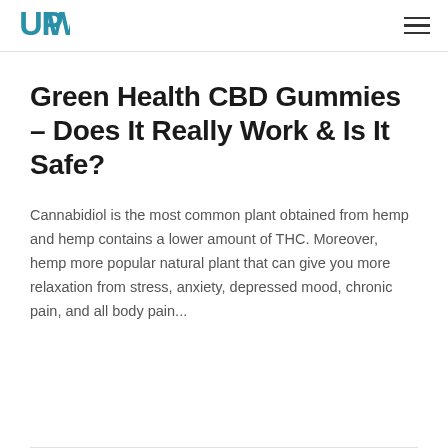UPW logo and hamburger menu
Green Health CBD Gummies – Does It Really Work & Is It Safe?
Cannabidiol is the most common plant obtained from hemp and hemp contains a lower amount of THC. Moreover, hemp more popular natural plant that can give you more relaxation from stress, anxiety, depressed mood, chronic pain, and all body pain...